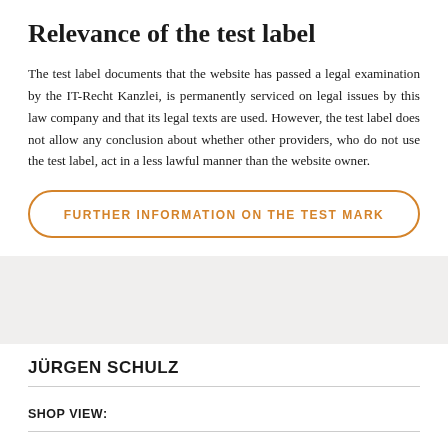Relevance of the test label
The test label documents that the website has passed a legal examination by the IT-Recht Kanzlei, is permanently serviced on legal issues by this law company and that its legal texts are used. However, the test label does not allow any conclusion about whether other providers, who do not use the test label, act in a less lawful manner than the website owner.
FURTHER INFORMATION ON THE TEST MARK
JÜRGEN SCHULZ
SHOP VIEW:
SHOP URL: https://www.geschenkebox-deluxe.de